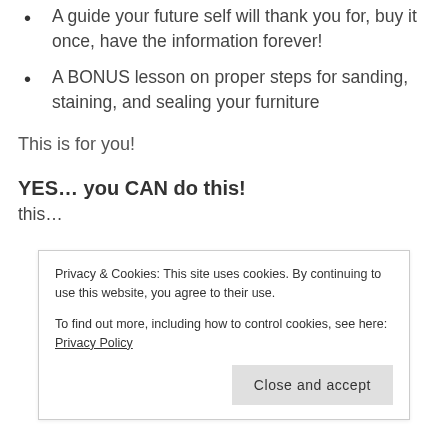A guide your future self will thank you for, buy it once, have the information forever!
A BONUS lesson on proper steps for sanding, staining, and sealing your furniture
This is for you!
YES… you CAN do this!
this...
Privacy & Cookies: This site uses cookies. By continuing to use this website, you agree to their use.
To find out more, including how to control cookies, see here: Privacy Policy
Close and accept